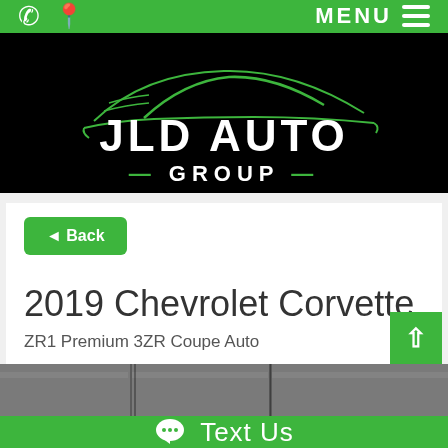JLD Auto Group - Navigation bar with phone and location icons, MENU
[Figure (logo): JLD Auto Group logo: green car silhouette outline above white bold text 'JLD AUTO' and '—GROUP—' on black background]
◄ Back
2019 Chevrolet Corvette
ZR1 Premium 3ZR Coupe Auto
[Figure (photo): Partial view of vehicle interior/exterior, grey tones]
Text Us